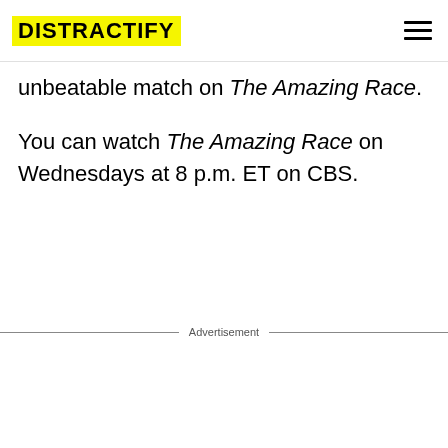DISTRACTIFY
unbeatable match on The Amazing Race.
You can watch The Amazing Race on Wednesdays at 8 p.m. ET on CBS.
Advertisement